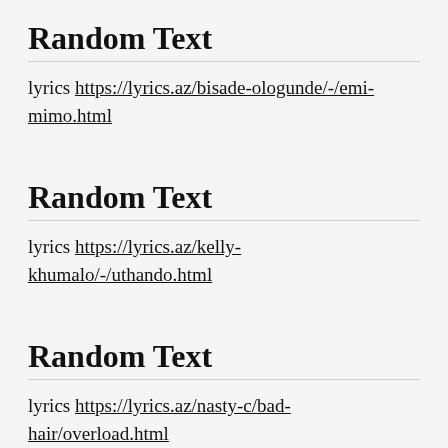Random Text
lyrics https://lyrics.az/bisade-ologunde/-/emi-mimo.html
Random Text
lyrics https://lyrics.az/kelly-khumalo/-/uthando.html
Random Text
lyrics https://lyrics.az/nasty-c/bad-hair/overload.html